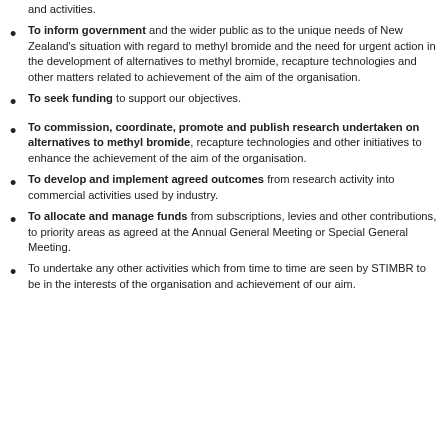and activities.
To inform government and the wider public as to the unique needs of New Zealand's situation with regard to methyl bromide and the need for urgent action in the development of alternatives to methyl bromide, recapture technologies and other matters related to achievement of the aim of the organisation.
To seek funding to support our objectives.
To commission, coordinate, promote and publish research undertaken on alternatives to methyl bromide, recapture technologies and other initiatives to enhance the achievement of the aim of the organisation.
To develop and implement agreed outcomes from research activity into commercial activities used by industry.
To allocate and manage funds from subscriptions, levies and other contributions, to priority areas as agreed at the Annual General Meeting or Special General Meeting.
To undertake any other activities which from time to time are seen by STIMBR to be in the interests of the organisation and achievement of our aim.